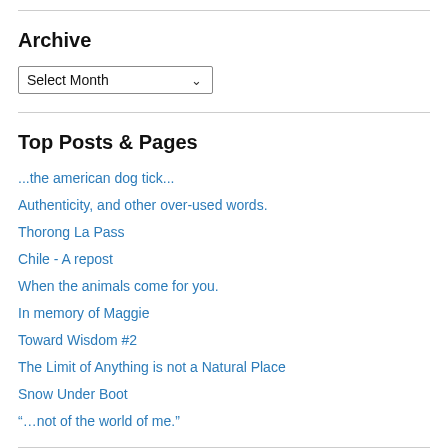Archive
Select Month
Top Posts & Pages
...the american dog tick...
Authenticity, and other over-used words.
Thorong La Pass
Chile - A repost
When the animals come for you.
In memory of Maggie
Toward Wisdom #2
The Limit of Anything is not a Natural Place
Snow Under Boot
“…not of the world of me.”